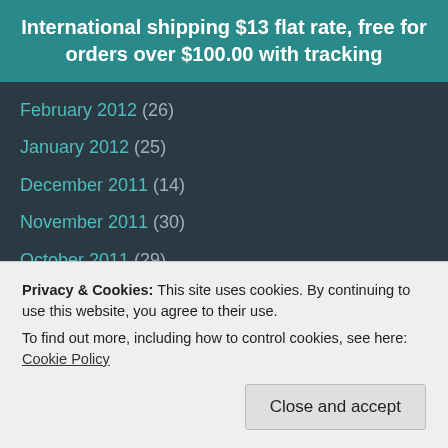International shipping $13 flat rate, free for orders over $100.00 with tracking
February 2012 (26)
January 2012 (25)
December 2011 (14)
November 2011 (30)
October 2011 (29)
September 2011 (27)
August 2011 (27)
July 2011 (30)
June 2011 (28)
Privacy & Cookies: This site uses cookies. By continuing to use this website, you agree to their use.
To find out more, including how to control cookies, see here: Cookie Policy
February 2011 (25)